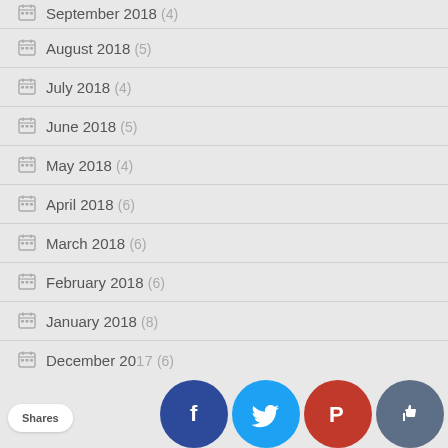September 2018 (4)
August 2018 (5)
July 2018 (4)
June 2018 (5)
May 2018 (4)
April 2018 (6)
March 2018 (6)
February 2018 (6)
January 2018 (8)
December 2017 (6)